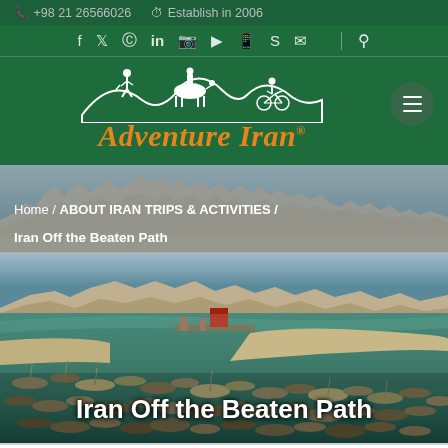+98 21 26566026   Establish in 2006
[Figure (logo): Adventure Iran logo with white silhouettes of hiker, camel rider, and cyclist over mountains on dark green background, with orange italic text 'Adventure Iran']
Home / ABOUT IRAN TRIPS & ACTIVITIES /
Iran Off the Beaten Path
[Figure (photo): Aerial photo of an Iranian harbor/port with many boats moored, turquoise water, sandy shores, and arid rocky landscape in background]
Iran Off the Beaten Path